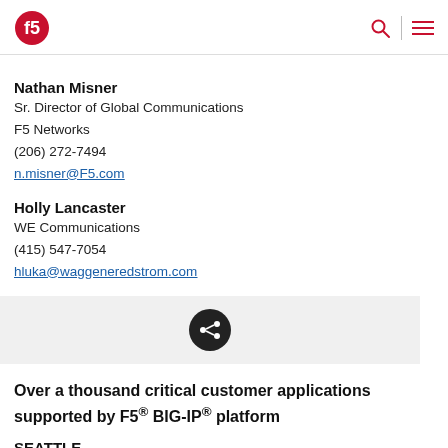F5 Networks logo, search icon, menu icon
Nathan Misner
Sr. Director of Global Communications
F5 Networks
(206) 272-7494
n.misner@F5.com
Holly Lancaster
WE Communications
(415) 547-7054
hluka@waggeneredstrom.com
[Figure (infographic): Share icon button — dark circle with a sharing/network icon inside, on a light grey background bar]
Over a thousand critical customer applications supported by F5® BIG-IP® platform
SEATTLE